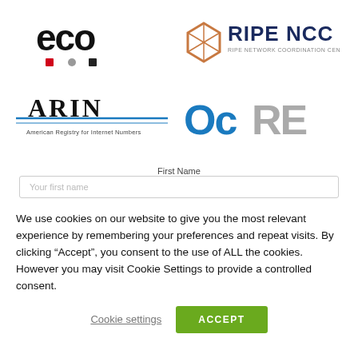[Figure (logo): eco logo - stylized text 'eco' with red, grey, black dots below]
[Figure (logo): RIPE NCC logo - orange hexagon icon with dark blue text 'RIPE NCC' and subtitle 'RIPE NETWORK COORDINATION CENTRE']
[Figure (logo): ARIN logo - 'ARIN' text with blue horizontal lines and subtitle 'American Registry for Internet Numbers']
[Figure (logo): OCRE logo - stylized blue/grey text 'OcRE']
First Name
Your first name
We use cookies on our website to give you the most relevant experience by remembering your preferences and repeat visits. By clicking “Accept”, you consent to the use of ALL the cookies. However you may visit Cookie Settings to provide a controlled consent.
Cookie settings
ACCEPT